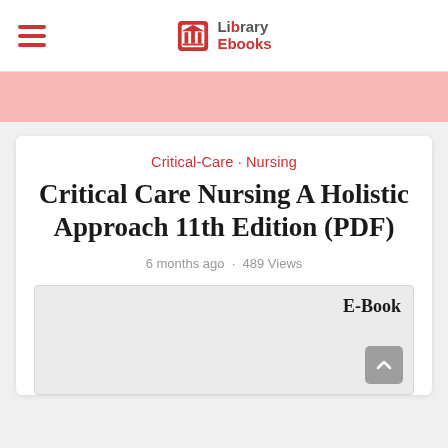Library Ebooks
Critical-Care · Nursing
Critical Care Nursing A Holistic Approach 11th Edition (PDF)
6 months ago · 489 Views
E-Book